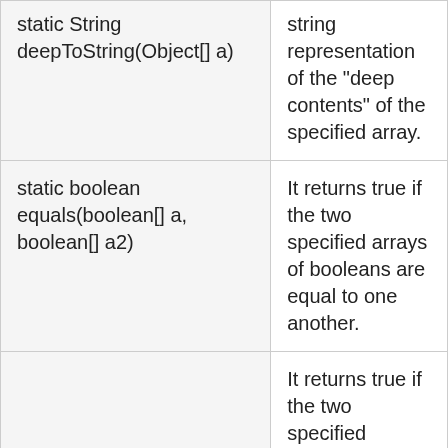| Method | Description |
| --- | --- |
| static String deepToString(Object[] a) | string representation of the "deep contents" of the specified array. |
| static boolean equals(boolean[] a, boolean[] a2) | It returns true if the two specified arrays of booleans are equal to one another. |
|  | It returns true if the two specified |